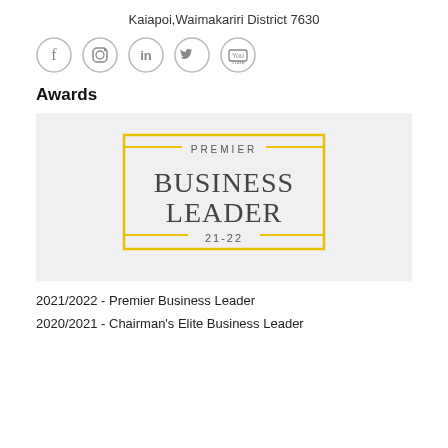Kaiapoi,Waimakariri District 7630
[Figure (illustration): Social media icons: Facebook, Instagram, LinkedIn, Twitter, YouTube — each in a circle outline]
Awards
[Figure (logo): Premier Business Leader 21-22 badge/logo with yellow border rectangle and grey text on light grey background]
2021/2022 - Premier Business Leader
2020/2021 - Chairman's Elite Business Leader